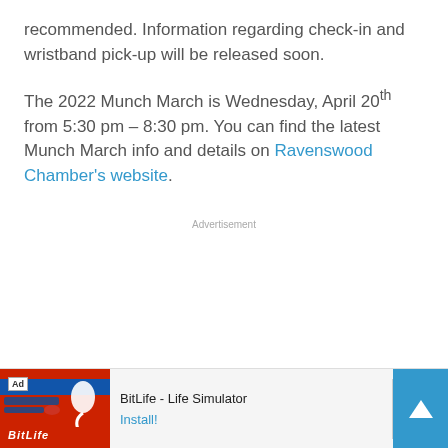recommended. Information regarding check-in and wristband pick-up will be released soon.
The 2022 Munch March is Wednesday, April 20th from 5:30 pm – 8:30 pm. You can find the latest Munch March info and details on Ravenswood Chamber's website.
Advertisement
[Figure (screenshot): Mobile advertisement banner for BitLife - Life Simulator app showing Install button and scroll-to-top button]